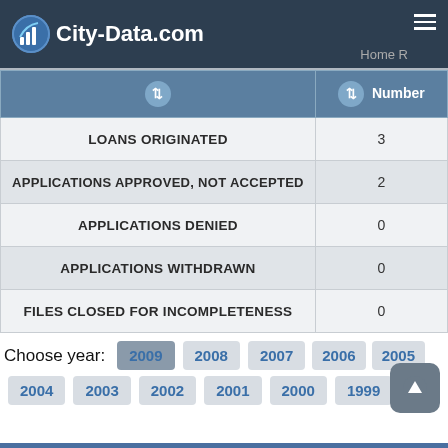City-Data.com
| ↕ | Number ↕ |
| --- | --- |
| LOANS ORIGINATED | 3 |
| APPLICATIONS APPROVED, NOT ACCEPTED | 2 |
| APPLICATIONS DENIED | 0 |
| APPLICATIONS WITHDRAWN | 0 |
| FILES CLOSED FOR INCOMPLETENESS | 0 |
Choose year: 2009 2008 2007 2006 2005 2004 2003 2002 2001 2000 1999
Detailed PMIC statistics for the following Tracts: 0100.00, 0107.00, 0108.00